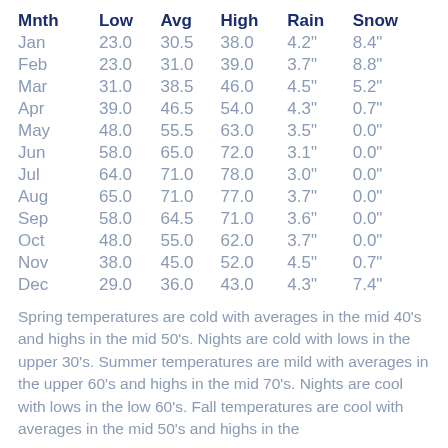| Mnth | Low | Avg | High | Rain | Snow |
| --- | --- | --- | --- | --- | --- |
| Jan | 23.0 | 30.5 | 38.0 | 4.2" | 8.4" |
| Feb | 23.0 | 31.0 | 39.0 | 3.7" | 8.8" |
| Mar | 31.0 | 38.5 | 46.0 | 4.5" | 5.2" |
| Apr | 39.0 | 46.5 | 54.0 | 4.3" | 0.7" |
| May | 48.0 | 55.5 | 63.0 | 3.5" | 0.0" |
| Jun | 58.0 | 65.0 | 72.0 | 3.1" | 0.0" |
| Jul | 64.0 | 71.0 | 78.0 | 3.0" | 0.0" |
| Aug | 65.0 | 71.0 | 77.0 | 3.7" | 0.0" |
| Sep | 58.0 | 64.5 | 71.0 | 3.6" | 0.0" |
| Oct | 48.0 | 55.0 | 62.0 | 3.7" | 0.0" |
| Nov | 38.0 | 45.0 | 52.0 | 4.5" | 0.7" |
| Dec | 29.0 | 36.0 | 43.0 | 4.3" | 7.4" |
Spring temperatures are cold with averages in the mid 40's and highs in the mid 50's. Nights are cold with lows in the upper 30's. Summer temperatures are mild with averages in the upper 60's and highs in the mid 70's. Nights are cool with lows in the low 60's. Fall temperatures are cool with averages in the mid 50's and highs in the